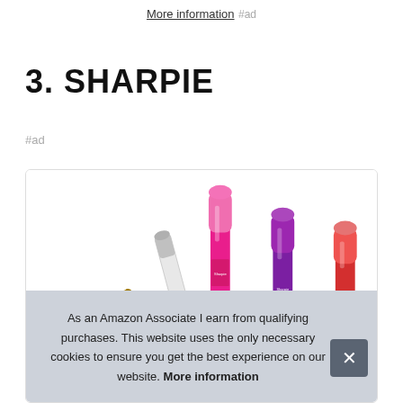More information #ad
3. SHARPIE
#ad
[Figure (photo): Multiple Sharpie markers arranged in a fan pattern showing various colors including white, pink/magenta, purple, red, and brown/gold against a white background.]
As an Amazon Associate I earn from qualifying purchases. This website uses the only necessary cookies to ensure you get the best experience on our website. More information